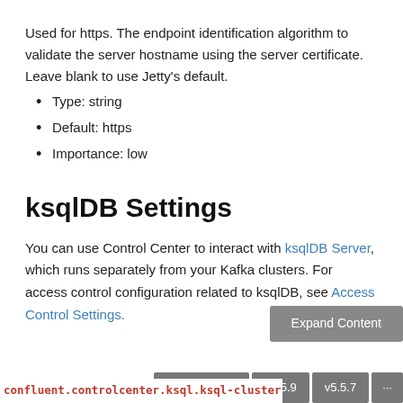Used for https. The endpoint identification algorithm to validate the server hostname using the server certificate. Leave blank to use Jetty's default.
Type: string
Default: https
Importance: low
ksqlDB Settings
You can use Control Center to interact with ksqlDB Server, which runs separately from your Kafka clusters. For access control configuration related to ksqlDB, see Access Control Settings.
confluent.controlcenter.ksql.ksql-cluster-name.advertise...